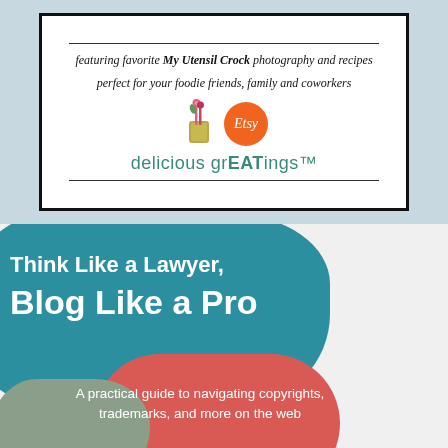[Figure (infographic): White card with black border advertising greeting cards on Etsy. Contains text about My Utensil Crock photography and recipes, utensil crock illustration, Etsy orange circle badge, and 'delicious grEATings TM' brand name in teal.]
[Figure (infographic): Book cover graphic showing 'Think Like a Lawyer, Blog Like a Pro' title in white bold text on teal speech bubble. Subtitle 'A practical guide to navigating copyrights, trademarks, and more on the web' on red speech bubble. Gray-green speech bubble at bottom left.]